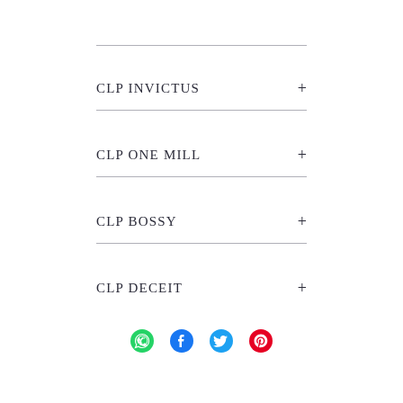CLP INVICTUS
CLP ONE MILL
CLP BOSSY
CLP DECEIT
[Figure (other): Social share icons: WhatsApp (green), Facebook (dark blue), Twitter (light blue), Pinterest (red)]